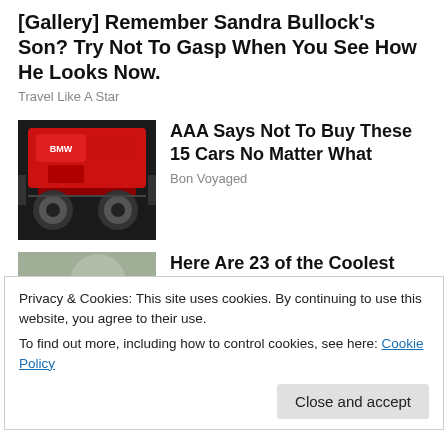[Gallery] Remember Sandra Bullock's Son? Try Not To Gasp When You See How He Looks Now.
Travel Like A Star
[Figure (photo): Red BMW engine bay with red valve cover]
AAA Says Not To Buy These 15 Cars No Matter What
Bon Voyaged
[Figure (photo): Close-up of a red tool or car part against blurred background]
Here Are 23 of the Coolest Gifts for This 2022
TechNews
Privacy & Cookies: This site uses cookies. By continuing to use this website, you agree to their use.
To find out more, including how to control cookies, see here: Cookie Policy